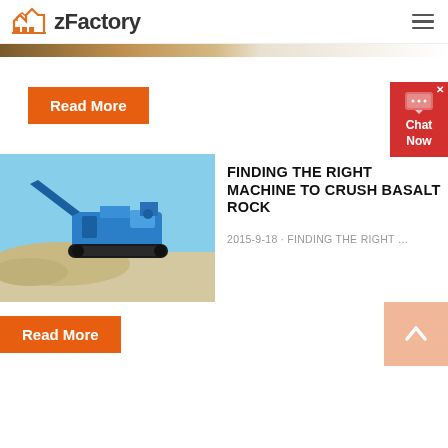zFactory
[Figure (screenshot): Orange and brown banner/image strip at top of page, partially visible]
Read More
[Figure (photo): Blue mobile rock crushing machine on a sandy/gravel site with clear sky background]
FINDING THE RIGHT MACHINE TO CRUSH BASALT ROCK
2015-9-18 · FINDING THE RIGHT …
Read More